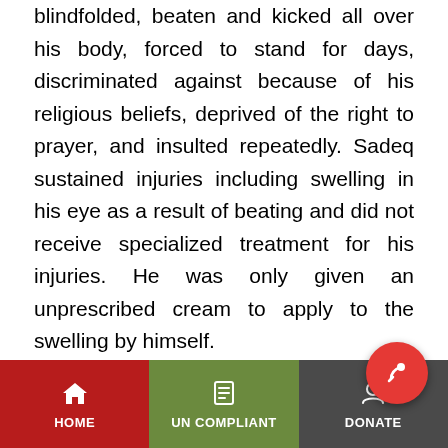blindfolded, beaten and kicked all over his body, forced to stand for days, discriminated against because of his religious beliefs, deprived of the right to prayer, and insulted repeatedly. Sadeq sustained injuries including swelling in his eye as a result of beating and did not receive specialized treatment for his injuries. He was only given an unprescribed cream to apply to the swelling by himself.
Sadeq faced charges for the case of burning the jeep, attempted murder, and the possession of a Molotov cocktail. Sadeq was denied access to his attorney, and
HOME | UN COMPLIANT | DONATE